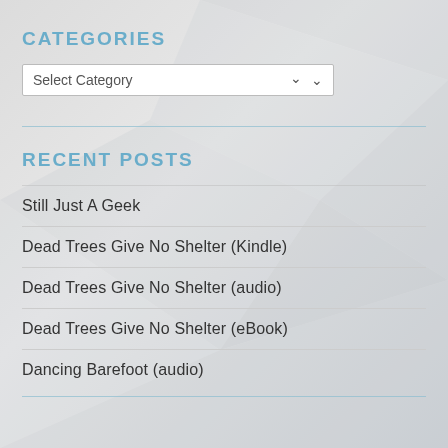CATEGORIES
Select Category
RECENT POSTS
Still Just A Geek
Dead Trees Give No Shelter (Kindle)
Dead Trees Give No Shelter (audio)
Dead Trees Give No Shelter (eBook)
Dancing Barefoot (audio)